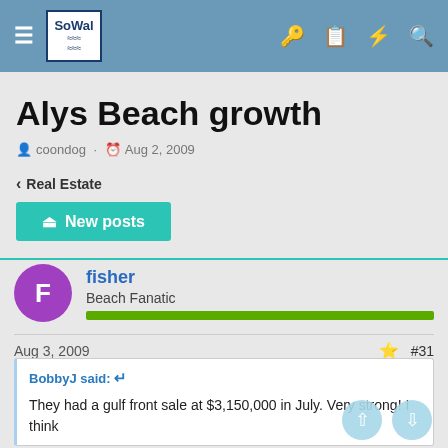SoWal forum header navigation
Alys Beach growth
coondog · Aug 2, 2009
< Real Estate
New posts
fisher
Beach Fanatic
Aug 3, 2009  #31
BobbyJ said: They had a gulf front sale at $3,150,000 in July. Very strong! I think